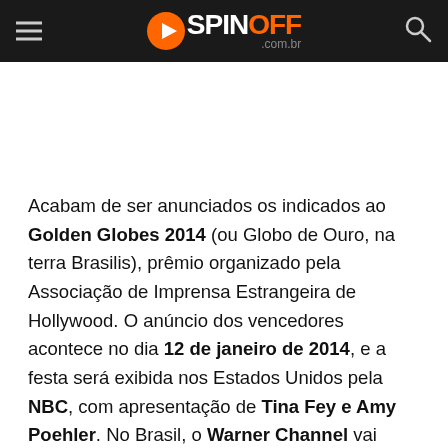SPINOFF .com.br
Acabam de ser anunciados os indicados ao Golden Globes 2014 (ou Globo de Ouro, na terra Brasilis), prêmio organizado pela Associação de Imprensa Estrangeira de Hollywood. O anúncio dos vencedores acontece no dia 12 de janeiro de 2014, e a festa será exibida nos Estados Unidos pela NBC, com apresentação de Tina Fey e Amy Poehler. No Brasil, o Warner Channel vai exibir o evento ao vivo.
A seguir, a lista de indicados nas categorias de TV,